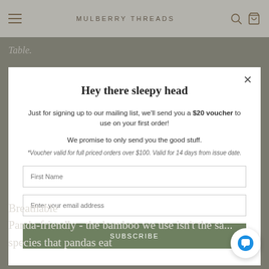MULBERRY THREADS
Table.
Hey there sleepy head
Just for signing up to our mailing list, we'll send you a $20 voucher to use on your first order!
We promise to only send you the good stuff.
*Voucher valid for full priced orders over $100. Valid for 14 days from issue date.
Breathable
Panda-friendly - the bamboo we use isn't the same species that pandas eat